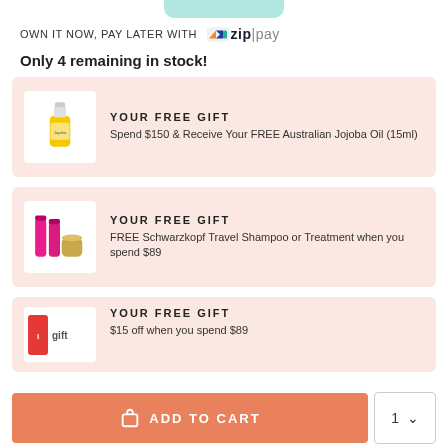OWN IT NOW, PAY LATER WITH zip|pay
Only 4 remaining in stock!
[Figure (infographic): Free gift card showing Australian Jojoba Oil bottle with text: YOUR FREE GIFT – Spend $150 & Receive Your FREE Australian Jojoba Oil (15ml)]
[Figure (infographic): Free gift card showing Schwarzkopf products with text: YOUR FREE GIFT – FREE Schwarzkopf Travel Shampoo or Treatment when you spend $89]
[Figure (infographic): Partially visible free gift card with text: YOUR FREE GIFT – $15 off when you spend $89]
ADD TO CART  1